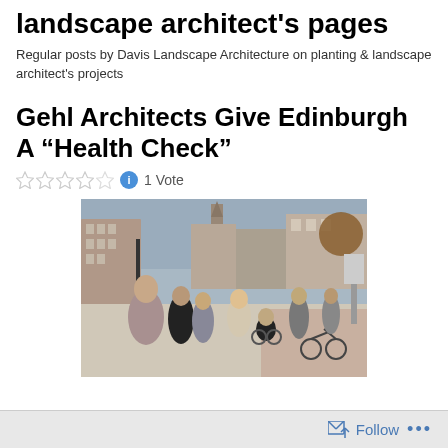landscape architect's pages
Regular posts by Davis Landscape Architecture on planting & landscape architect's projects
Gehl Architects Give Edinburgh A “Health Check”
1 Vote
[Figure (photo): Busy pedestrian street scene with people walking, a person in a wheelchair, bicycles, and urban buildings in the background]
Follow ...